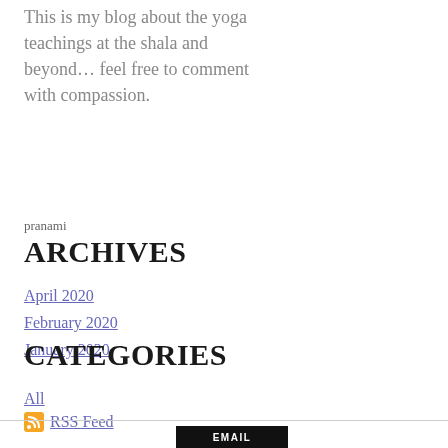This is my blog about the yoga teachings at the shala and beyond… feel free to comment with compassion.
pranami
ARCHIVES
April 2020
February 2020
January 2020
CATEGORIES
All
RSS Feed
EMAIL